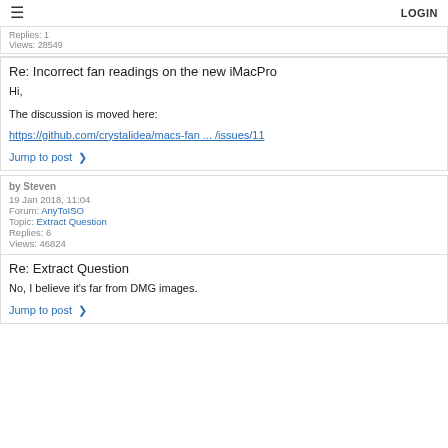LOGIN
Replies: 1
Views: 28549
Re: Incorrect fan readings on the new iMacPro
Hi,

The discussion is moved here:
https://github.com/crystalidea/macs-fan ... /issues/11

Jump to post
by Steven
19 Jan 2018, 11:04
Forum: AnyToISO
Topic: Extract Question
Replies: 6
Views: 46824
Re: Extract Question
No, I believe it's far from DMG images.

Jump to post